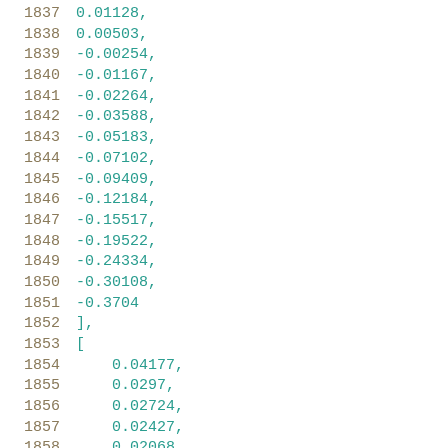1837    0.01128,
1838    0.00503,
1839    -0.00254,
1840    -0.01167,
1841    -0.02264,
1842    -0.03588,
1843    -0.05183,
1844    -0.07102,
1845    -0.09409,
1846    -0.12184,
1847    -0.15517,
1848    -0.19522,
1849    -0.24334,
1850    -0.30108,
1851    -0.3704
1852    ],
1853    [
1854        0.04177,
1855        0.0297,
1856        0.02724,
1857        0.02427,
1858        0.02068,